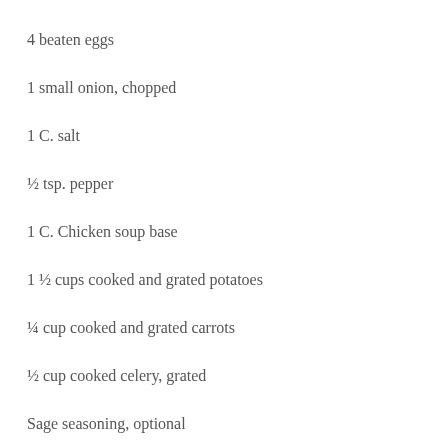4 beaten eggs
1 small onion, chopped
1 C. salt
½ tsp. pepper
1 C. Chicken soup base
1 ½ cups cooked and grated potatoes
¼ cup cooked and grated carrots
½ cup cooked celery, grated
Sage seasoning, optional